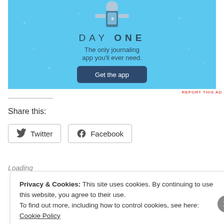[Figure (illustration): Day One journaling app advertisement with light blue background, showing a person holding a phone, with the text 'DAY ONE - The only journaling app you'll ever need.' and a 'Get the app' button.]
REPORT THIS AD
Share this:
Twitter
Facebook
Loading
Privacy & Cookies: This site uses cookies. By continuing to use this website, you agree to their use.
To find out more, including how to control cookies, see here: Cookie Policy
Close and accept